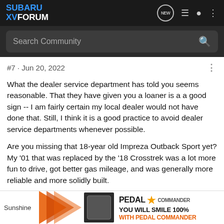SUBARU XV FORUM
Search Community
#7 · Jun 20, 2022
What the dealer service department has told you seems reasonable. That they have given you a loaner is a a good sign -- I am fairly certain my local dealer would not have done that. Still, I think it is a good practice to avoid dealer service departments whenever possible.
Are you missing that 18-year old Impreza Outback Sport yet? My '01 that was replaced by the '18 Crosstrek was a lot more fun to drive, got better gas mileage, and was generally more reliable and more solidly built.
[Figure (other): Pedal Commander advertisement banner with orange arrow graphic, device image, Pedal Commander logo with star, and text 'YOU WILL SMILE 100% WITH PEDAL COMMANDER']